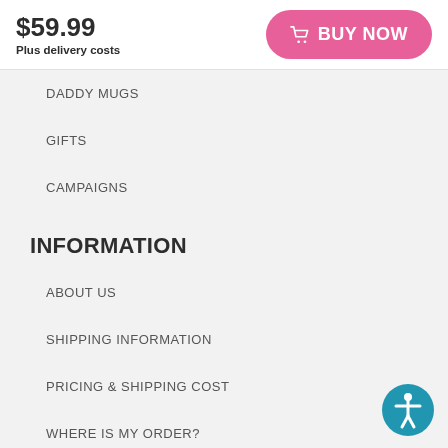$59.99
Plus delivery costs
[Figure (other): Pink rounded BUY NOW button with shopping cart icon]
DADDY MUGS
GIFTS
CAMPAIGNS
INFORMATION
ABOUT US
SHIPPING INFORMATION
PRICING & SHIPPING COST
WHERE IS MY ORDER?
TERMS AND CONDITIONS
INTELLECTUAL PROPERTY
[Figure (other): Blue circular accessibility icon button]